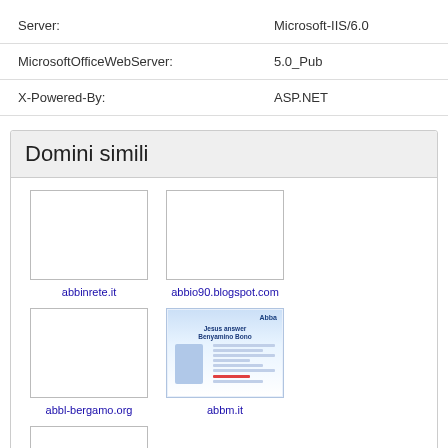| Key | Value |
| --- | --- |
| Server: | Microsoft-IIS/6.0 |
| MicrosoftOfficeWebServer: | 5.0_Pub |
| X-Powered-By: | ASP.NET |
Domini simili
[Figure (screenshot): Thumbnail grid showing 5 similar domains: abbinrete.it (blank), abbio90.blogspot.com (blank), abbl-bergamo.org (blank), abbm.it (with preview screenshot), abboart.com (blank)]
abbinrete.it
abbio90.blogspot.com
abbl-bergamo.org
abbm.it
abboart.com